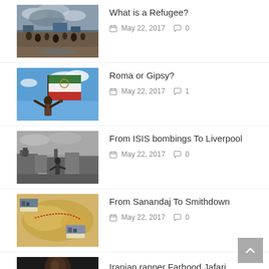What is a Refugee? | May 22, 2017 | 0 comments
Roma or Gipsy? | May 22, 2017 | 1 comment
From ISIS bombings To Liverpool | May 22, 2017 | 0 comments
From Sanandaj To Smithdown | May 22, 2017 | 0 comments
Iranian rapper Farhood Jafari